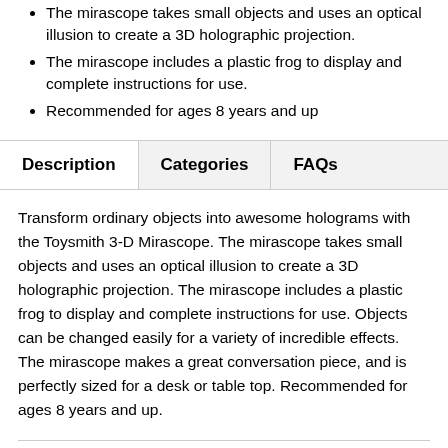The mirascope takes small objects and uses an optical illusion to create a 3D holographic projection.
The mirascope includes a plastic frog to display and complete instructions for use.
Recommended for ages 8 years and up
Description   Categories   FAQs
Transform ordinary objects into awesome holograms with the Toysmith 3-D Mirascope. The mirascope takes small objects and uses an optical illusion to create a 3D holographic projection. The mirascope includes a plastic frog to display and complete instructions for use. Objects can be changed easily for a variety of incredible effects. The mirascope makes a great conversation piece, and is perfectly sized for a desk or table top. Recommended for ages 8 years and up.